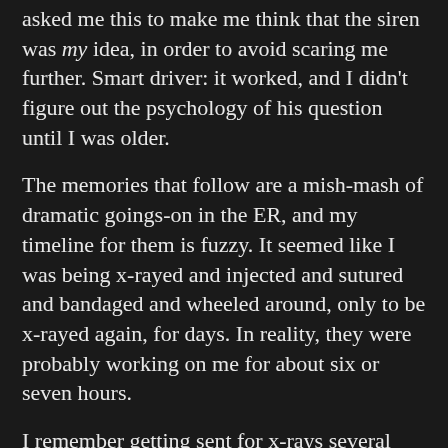asked me this to make me think that the siren was my idea, in order to avoid scaring me further. Smart driver: it worked, and I didn't figure out the psychology of his question until I was older.
The memories that follow are a mish-mash of dramatic goings-on in the ER, and my timeline for them is fuzzy. It seemed like I was being x-rayed and injected and sutured and bandaged and wheeled around, only to be x-rayed again, for days. In reality, they were probably working on me for about six or seven hours.
I remember getting sent for x-rays several times, since the doctors were very worried that blood might be building up in my cranial cavity, and later, after they got a better look at my meat-grinder back, there was concern that I might have kidney damage. As it turned out, after much tense waiting, neither was an issue. All the while, we waited for